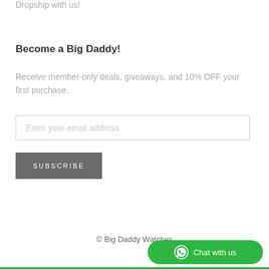Dropship with us!
Become a Big Daddy!
Receive member-only deals, giveaways, and 10% OFF your first purchase.
Enter your email address
SUBSCRIBE
© Big Daddy Watches
Chat with us